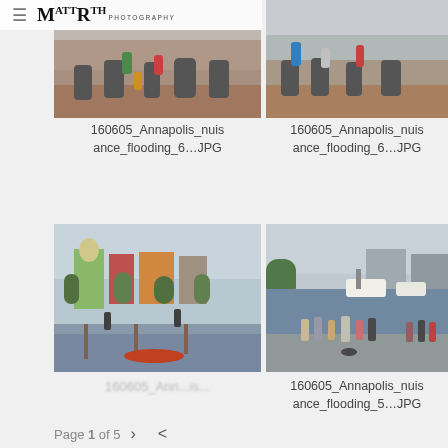≡  MR PHOTOGRAPHY
[Figure (photo): Photo of bronze statues in a plaza with people around them, Annapolis waterfront. Top left image.]
[Figure (photo): Photo of bronze statues in a plaza with people around them, Annapolis waterfront. Top right image.]
160605_Annapolis_nuisance_flooding_6…JPG
160605_Annapolis_nuisance_flooding_6…JPG
[Figure (photo): Photo of Annapolis harbor waterfront with Maryland State House dome visible, trees and buildings, red canoe. Bottom left image.]
[Figure (photo): Photo of Annapolis harbor/marina with boats docked, families standing on waterfront. Bottom right image.]
160605_Ann...is...
160605_Annapolis_nuisance_flooding_5…JPG
Page 1 of 5  >  <